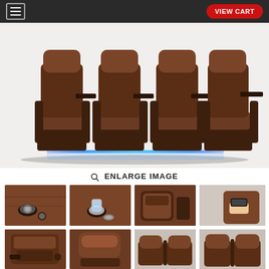☰  VIEW CART
[Figure (photo): Four brown leather home theater recliner seats arranged in a row, with blue LED lighting underneath, and fold-out tray tables on the armrests.]
🔍 ENLARGE IMAGE
[Figure (photo): Thumbnail 1: Close-up of built-in cup holder with power button in brown leather armrest]
[Figure (photo): Thumbnail 2: Close-up of cup holder with glass of water in brown leather armrest]
[Figure (photo): Thumbnail 3: Close-up of side armrest detail of brown leather theater seat]
[Figure (photo): Thumbnail 4: Hand holding a black remote control next to brown leather seat]
[Figure (photo): Thumbnail 5: Close-up of recliner mechanism detail on brown leather seat]
[Figure (photo): Thumbnail 6: Close-up of headrest and back detail of brown leather theater seat]
[Figure (photo): Thumbnail 7: Two theater seats showing back and side detail in brown leather]
[Figure (photo): Thumbnail 8: Two theater seats from front angle in brown leather]